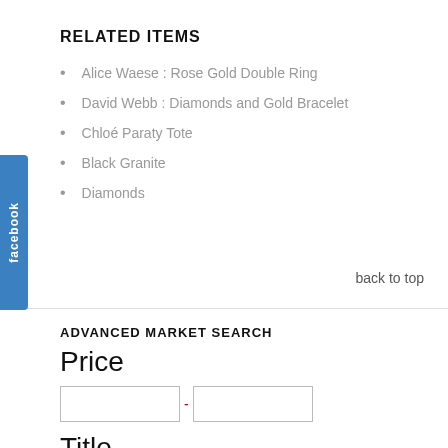RELATED ITEMS
Alice Waese : Rose Gold Double Ring
David Webb : Diamonds and Gold Bracelet
Chloé Paraty Tote
Black Granite
Diamonds
back to top
ADVANCED MARKET SEARCH
Price
Title